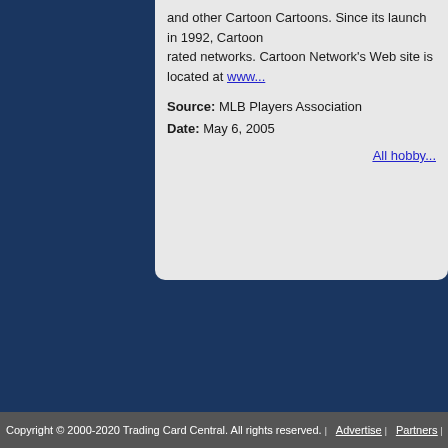and other Cartoon Cartoons. Since its launch in 1992, Cartoon Network has grown to become one of the most-watched and highest-rated networks. Cartoon Network's Web site is located at www...
Source: MLB Players Association
Date: May 6, 2005
All hobby...
Copyright © 2000-2020 Trading Card Central. All rights reserved.   Advertise   Partners   ...